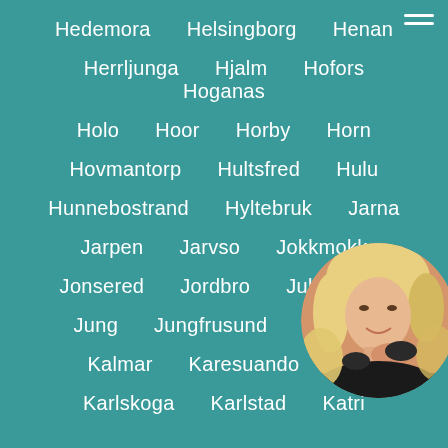Hedemora  Helsingborg  Henan
Herrljunga  Hjalm  Hofors  Hoganas
Holo  Hoor  Horby  Horn
Hovmantorp  Hultsfred  Hulu
Hunnebostrand  Hyltebruk  Jarna
Jarpen  Jarvso  Jokkmokk
Jonsered  Jordbro  Jukkasjarvi
Jung  Jungfrusund  Junsele
Kalmar  Karesuando  Ka...
Karlskoga  Karlstad  Katri...
[Figure (photo): Circular avatar photo of a blonde woman in a black outfit, smiling, positioned in the bottom-right corner of the page]